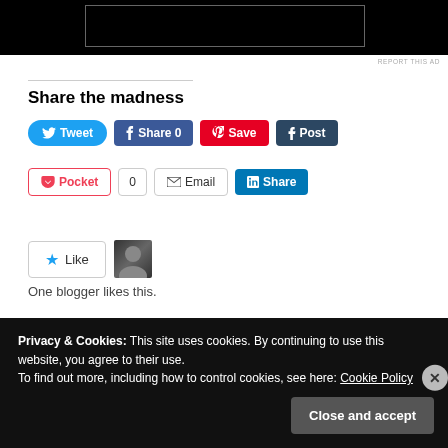[Figure (screenshot): Ad banner area — black rectangle with inner bordered box]
REPORT THIS AD
Share the madness
Tweet  Share 0  Save  Post  Pocket  0  Email  Share
Like  One blogger likes this.
Privacy & Cookies: This site uses cookies. By continuing to use this website, you agree to their use.
To find out more, including how to control cookies, see here: Cookie Policy
Close and accept